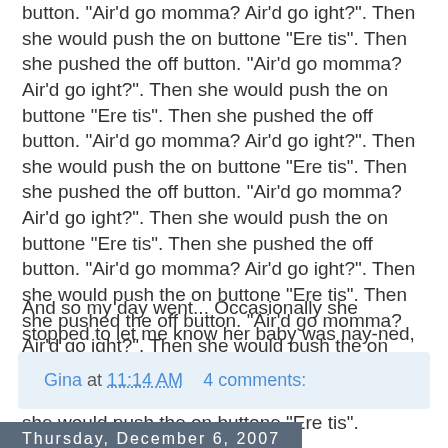button. "Air'd go momma? Air'd go ight?". Then she would push the on buttone "Ere tis". Then she pushed the off button. "Air'd go momma? Air'd go ight?". Then she would push the on buttone "Ere tis". Then she pushed the off button. "Air'd go momma? Air'd go ight?". Then she would push the on buttone "Ere tis". Then she pushed the off button. "Air'd go momma? Air'd go ight?". Then she would push the on buttone "Ere tis". Then she pushed the off button. "Air'd go momma? Air'd go ight?". Then she would push the on buttone "Ere tis". Then she pushed the off button. "Air'd go momma? Air'd go ight?". Then she would push the on buttone "Ere tis". Then she pushed the off button. "Air'd go momma? Air'd go ight?". Then she would push the on buttone "Ere tis".
And so my day went... Occasionally she stopped to let me know her baby was nay-ned, but then back to the lights.
Gina at 11:14 AM    4 comments:
Thursday, December 6, 2007